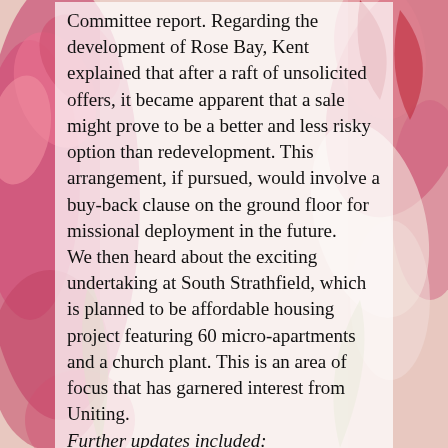[Figure (illustration): Colorful floral and bird illustration background with pink, red and cream tones, partially visible behind semi-transparent white text overlay]
Committee report. Regarding the development of Rose Bay, Kent explained that after a raft of unsolicited offers, it became apparent that a sale might prove to be a better and less risky option than redevelopment. This arrangement, if pursued, would involve a buy-back clause on the ground floor for missional deployment in the future.
We then heard about the exciting undertaking at South Strathfield, which is planned to be affordable housing project featuring 60 micro-apartments and a church plant. This is an area of focus that has garnered interest from Uniting.
Further updates included:
The Redfern site was sold for $3.725m, above our reserve price, (settlement will be completed by January 15th, 2015) and also an update of...